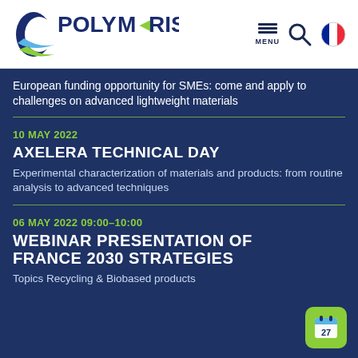[Figure (logo): POLYMERIS logo with blue crescent shape and gradient swoosh, blue and green text]
[Figure (infographic): Navigation icons: hamburger menu with MENU label, search magnifier icon, French flag circle icon]
European funding opportunity for SMEs: come and apply to challenges on advanced lightweight materials
10 MAY 2022
AXELERA TECHNICAL DAY
Experimental characterization of materials and products: from routine analysis to advanced techniques
06 MAY 2022 09:00–10:00
WEBINAR PRESENTATION OF FRANCE 2030 STRATEGIES
Topics Recycling & Biobased products